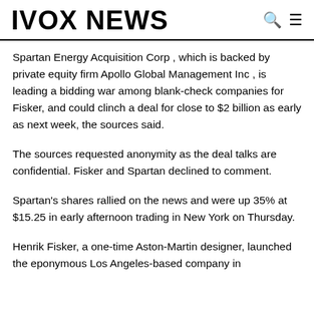IVOX NEWS
Spartan Energy Acquisition Corp , which is backed by private equity firm Apollo Global Management Inc , is leading a bidding war among blank-check companies for Fisker, and could clinch a deal for close to $2 billion as early as next week, the sources said.
The sources requested anonymity as the deal talks are confidential. Fisker and Spartan declined to comment.
Spartan's shares rallied on the news and were up 35% at $15.25 in early afternoon trading in New York on Thursday.
Henrik Fisker, a one-time Aston-Martin designer, launched the eponymous Los Angeles-based company in